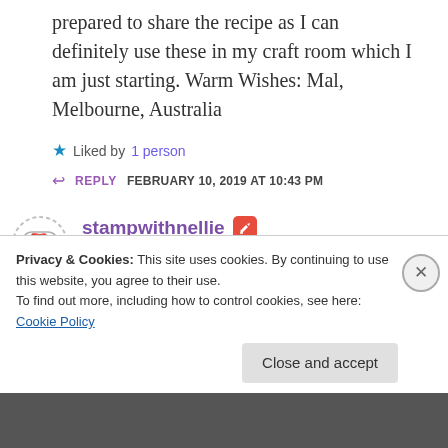prepared to share the recipe as I can definitely use these in my craft room which I am just starting. Warm Wishes: Mal, Melbourne, Australia
★ Liked by 1 person
↩ REPLY   FEBRUARY 10, 2019 AT 10:43 PM
stampwithnellie [edit icon]
Leave it with me Mal. I'll update the blog when I get a chance and let you know xx
Privacy & Cookies: This site uses cookies. By continuing to use this website, you agree to their use.
To find out more, including how to control cookies, see here: Cookie Policy
Close and accept